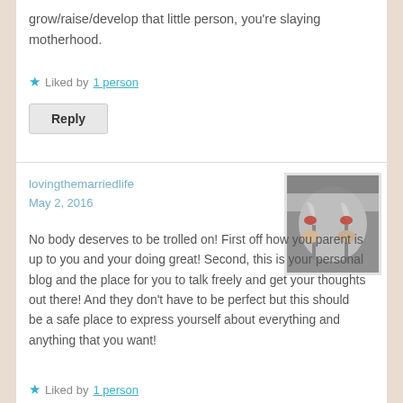grow/raise/develop that little person, you're slaying motherhood.
★ Liked by 1 person
Reply
lovingthemarriedlife
May 2, 2016
[Figure (photo): Black and white photo of two people clinking wine glasses with red wine]
No body deserves to be trolled on! First off how you parent is up to you and your doing great! Second, this is your personal blog and the place for you to talk freely and get your thoughts out there! And they don't have to be perfect but this should be a safe place to express yourself about everything and anything that you want!
★ Liked by 1 person